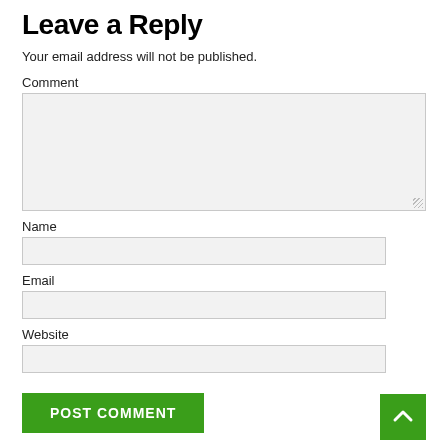Leave a Reply
Your email address will not be published.
Comment
Name
Email
Website
POST COMMENT